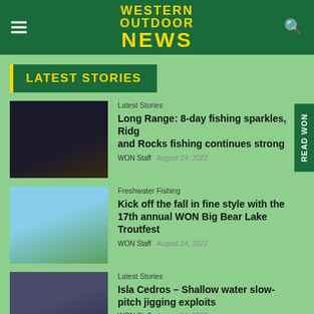WESTERN OUTDOOR NEWS
LATEST STORIES
Latest Stories
Long Range: 8-day fishing sparkles, Ridges and Rocks fishing continues strong
WON Staff  August 24, 2022
Freshwater Fishing
Kick off the fall in fine style with the 17th annual WON Big Bear Lake Troutfest
WON Staff  August 24, 2022
Latest Stories
Isla Cedros – Shallow water slow-pitch jigging exploits
WON Staff  August 24, 2022